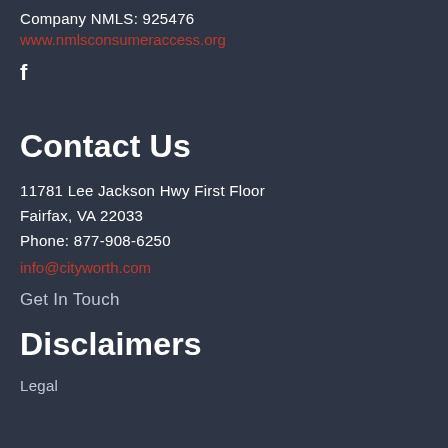Company NMLS: 925476
www.nmlsconsumeraccess.org
[Figure (logo): Facebook icon (f)]
Contact Us
11781 Lee Jackson Hwy First Floor
Fairfax, VA 22033
Phone: 877-908-6250
info@cityworth.com
Get In Touch
Disclaimers
Legal